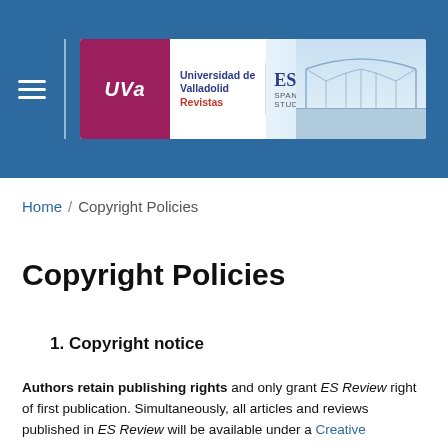[Figure (logo): ES Review - Spanish Journal of English Studies journal banner with Universidad de Valladolid Revistas logo on the left and bridge image on the right]
Home / Copyright Policies
Copyright Policies
1. Copyright notice
Authors retain publishing rights and only grant ES Review right of first publication. Simultaneously, all articles and reviews published in ES Review will be available under a Creative